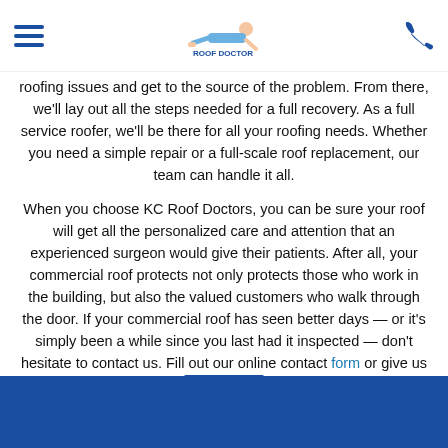Roof Doctor — navigation header with hamburger menu and phone icon
roofing issues and get to the source of the problem. From there, we'll lay out all the steps needed for a full recovery. As a full service roofer, we'll be there for all your roofing needs. Whether you need a simple repair or a full-scale roof replacement, our team can handle it all.
When you choose KC Roof Doctors, you can be sure your roof will get all the personalized care and attention that an experienced surgeon would give their patients. After all, your commercial roof protects not only protects those who work in the building, but also the valued customers who walk through the door. If your commercial roof has seen better days — or it's simply been a while since you last had it inspected — don't hesitate to contact us. Fill out our online contact form or give us a call at (816) 207-3222 to get your free quote today.